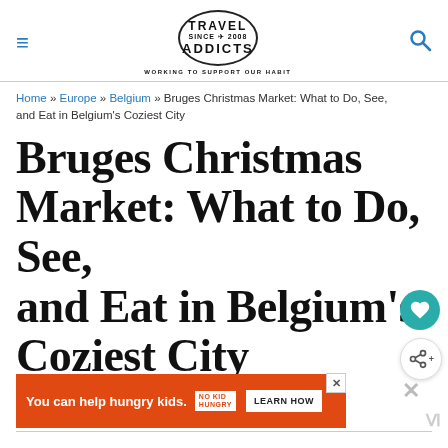Travel Addicts — Since 2008 — Working to Support Our Habit
Home » Europe » Belgium » Bruges Christmas Market: What to Do, See, and Eat in Belgium's Coziest City
Bruges Christmas Market: What to Do, See, and Eat in Belgium's Coziest City
By: Laura Longwell
Last updated: July 7, 2022
[Figure (other): Advertisement banner: 'You can help hungry kids. No Kid Hungry. Learn How']